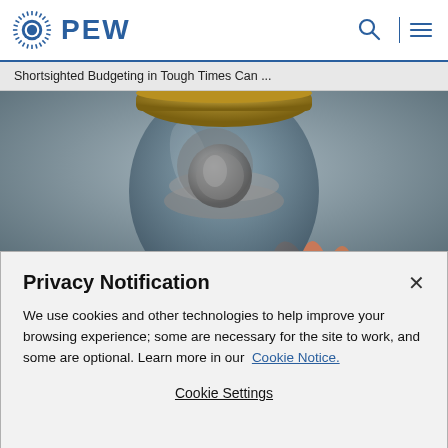PEW
Shortsighted Budgeting in Tough Times Can ...
[Figure (photo): A hand holding a glass jar filled with coins against a muted blue-grey background.]
Privacy Notification
We use cookies and other technologies to help improve your browsing experience; some are necessary for the site to work, and some are optional. Learn more in our Cookie Notice.
Cookie Settings